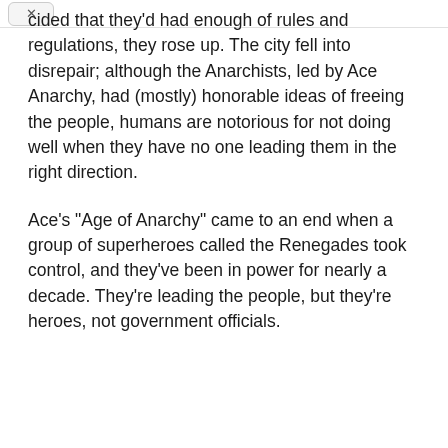cided that they'd had enough of rules and regulations, they rose up. The city fell into disrepair; although the Anarchists, led by Ace Anarchy, had (mostly) honorable ideas of freeing the people, humans are notorious for not doing well when they have no one leading them in the right direction.
Ace's "Age of Anarchy" came to an end when a group of superheroes called the Renegades took control, and they've been in power for nearly a decade. They're leading the people, but they're heroes, not government officials.